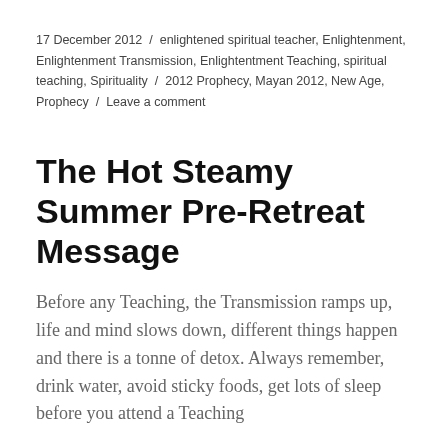17 December 2012 / enlightened spiritual teacher, Enlightenment, Enlightenment Transmission, Enlightentment Teaching, spiritual teaching, Spirituality / 2012 Prophecy, Mayan 2012, New Age, Prophecy / Leave a comment
The Hot Steamy Summer Pre-Retreat Message
Before any Teaching, the Transmission ramps up, life and mind slows down, different things happen and there is a tonne of detox. Always remember, drink water, avoid sticky foods, get lots of sleep before you attend a Teaching